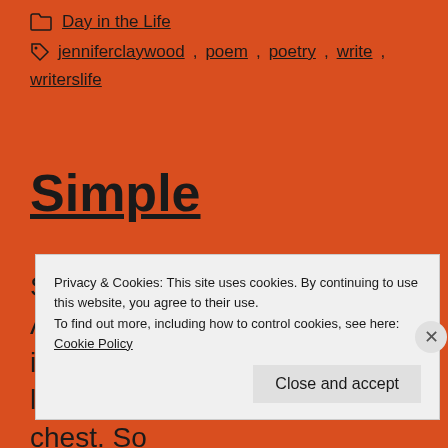Day in the Life
jenniferclaywood, poem, poetry, write, writerslife
Simple
So simple a wordFor this empty And fullAt onceWhere breathing is so easy a thingThat catches like a trapped animal In your chest. So
Privacy & Cookies: This site uses cookies. By continuing to use this website, you agree to their use.
To find out more, including how to control cookies, see here: Cookie Policy
Close and accept